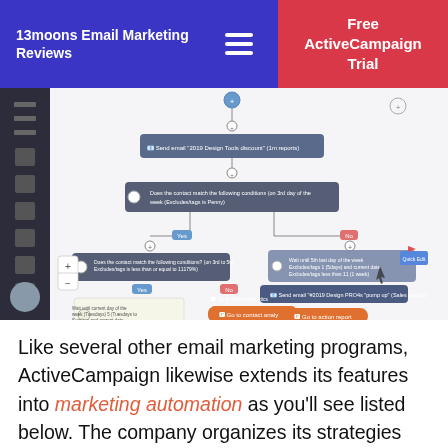13moons Email Marketing Reviews
Free ActiveCampaign Trial
[Figure (screenshot): ActiveCampaign marketing automation flowchart builder showing a workflow with multiple conditional branches, action nodes (dark gray), wait/condition nodes (blue), and action buttons (orange). Includes zoom controls and a left navigation sidebar.]
Like several other email marketing programs, ActiveCampaign likewise extends its features into marketing automation as you’ll see listed below. The company organizes its strategies depending on the variety of customers you’re